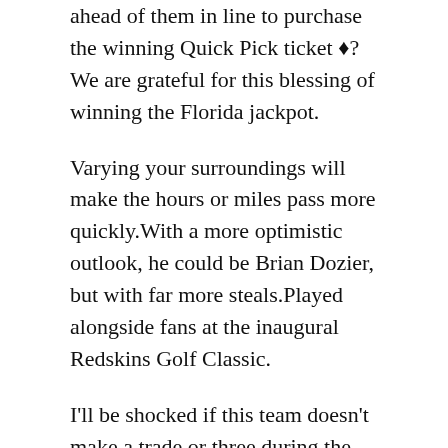ahead of them in line to purchase the winning Quick Pick ticket �?We are grateful for this blessing of winning the Florida jackpot.
Varying your surroundings will make the hours or miles pass more quickly.With a more optimistic outlook, he could be Brian Dozier, but with far more steals.Played alongside fans at the inaugural Redskins Golf Classic.
I'll be shocked if this team doesn't make a trade or three during the weekend.04 2019 by RotoWire Staff | RotoWire Knicks' Dennis Smith: Ruled out Monday.Dallas : Appeared in all 79 offensive plays...helped pave the way for the Rams to rush for 273 yards, a postseason franchise record...PHILADELPHIA – Game 82 marks the conclusion of the regular season, but for the first time in 10 seasons, it's not the end of the road for the Carolina Hurricanes.